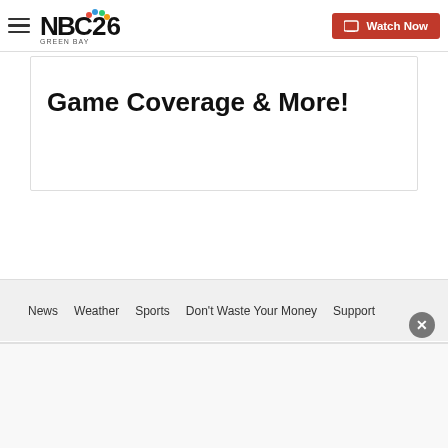NBC26 Green Bay — Watch Now
Game Coverage & More!
News  Weather  Sports  Don't Waste Your Money  Support